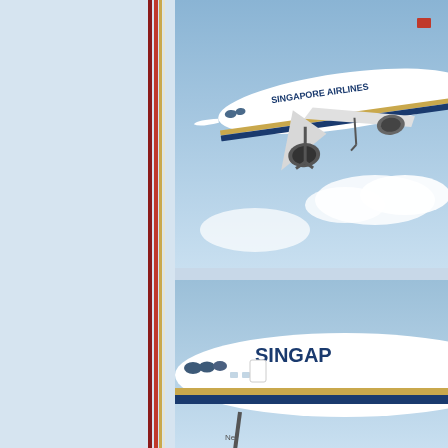[Figure (photo): Singapore Airlines wide-body aircraft (Boeing 777) in flight against a light blue sky with clouds, showing the full fuselage with 'SINGAPORE AIRLINES' livery, gold and blue stripe, undercarriage down]
[Figure (photo): Close-up of Singapore Airlines aircraft nose and forward fuselage showing 'SINGAP' text (Singapore Airlines livery), gold and blue stripe, cockpit windows, and partially extended landing gear]